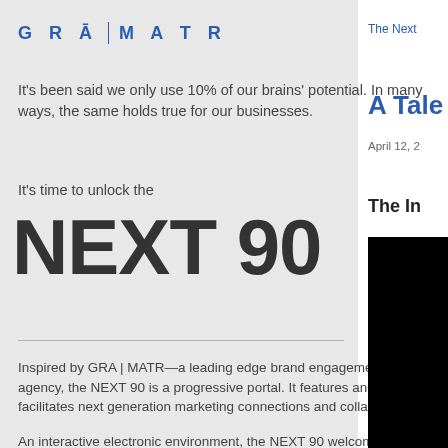[Figure (logo): GRA | MATR logo in blue with a vertical divider between GRA and MATR]
It's been said we only use 10% of our brains' potential. In many ways, the same holds true for our businesses.
It's time to unlock the
NEXT 90
Inspired by GRA | MATR—a leading edge brand engagement agency, the NEXT 90 is a progressive portal. It features and facilitates next generation marketing connections and collaborations.
An interactive electronic environment, the NEXT 90 welcomes all who enter to freely opine, discuss and learn...to reach previously untapped levels of purpose and potential.
The Next
A Tale
April 12, 2
The In
[Figure (photo): Black rectangle image in the right column]